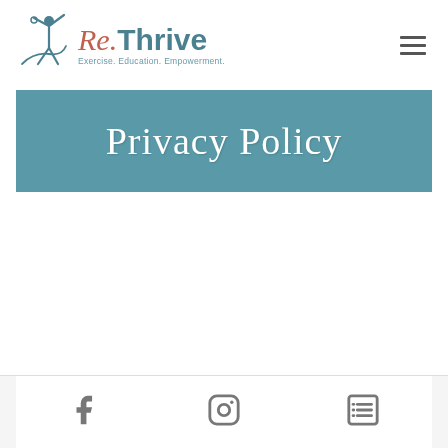[Figure (logo): Re.Thrive logo with stylized figure and text 'Re.Thrive Exercise. Education. Empowerment.']
Privacy Policy
[Figure (other): Footer bar with Facebook icon, Instagram icon, and list/menu icon]